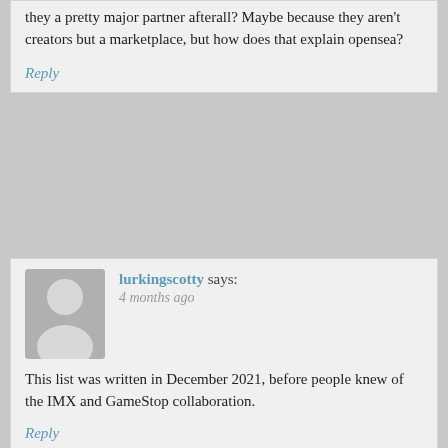they a pretty major partner afterall? Maybe because they aren't creators but a marketplace, but how does that explain opensea?
Reply
lurkingscotty says:
4 months ago
This list was written in December 2021, before people knew of the IMX and GameStop collaboration.
Reply
-LexVult- says:
4 months ago
From what I have seen its pretty much going to be the Loopring Wallet